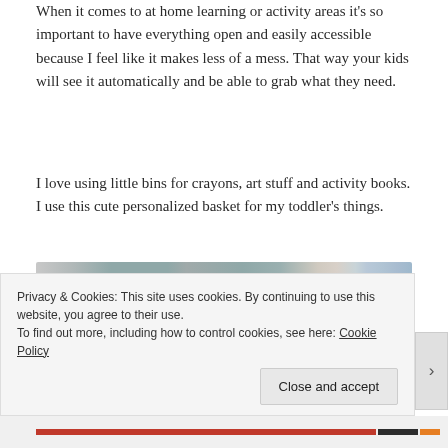When it comes to at home learning or activity areas it's so important to have everything open and easily accessible because I feel like it makes less of a mess. That way your kids will see it automatically and be able to grab what they need.
I love using little bins for crayons, art stuff and activity books. I use this cute personalized basket for my toddler's things.
[Figure (photo): Photograph of what appears to be baskets or storage bins, partially visible, in light gray and beige tones with striped elements on the right side.]
Privacy & Cookies: This site uses cookies. By continuing to use this website, you agree to their use.
To find out more, including how to control cookies, see here: Cookie Policy
Close and accept